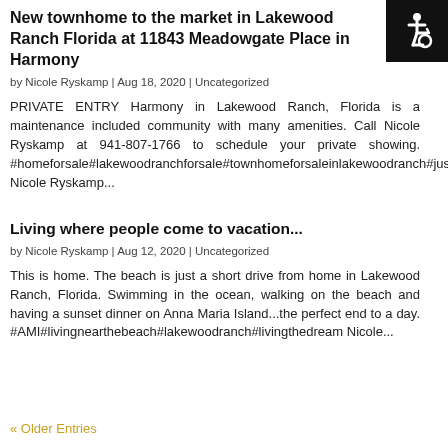[Figure (other): Accessibility icon — white wheelchair symbol on black square background, top-right corner]
New townhome to the market in Lakewood Ranch Florida at 11843 Meadowgate Place in Harmony
by Nicole Ryskamp | Aug 18, 2020 | Uncategorized
PRIVATE ENTRY Harmony in Lakewood Ranch, Florida is a maintenance included community with many amenities. Call Nicole Ryskamp at 941-807-1766 to schedule your private showing. #homeforsale#lakewoodranchforsale#townhomeforsaleinlakewoodranch#justlisted Nicole Ryskamp...
Living where people come to vacation...
by Nicole Ryskamp | Aug 12, 2020 | Uncategorized
This is home. The beach is just a short drive from home in Lakewood Ranch, Florida. Swimming in the ocean, walking on the beach and having a sunset dinner on Anna Maria Island...the perfect end to a day. #AMI#livingnearthebeach#lakewoodranch#livingthedream Nicole...
« Older Entries